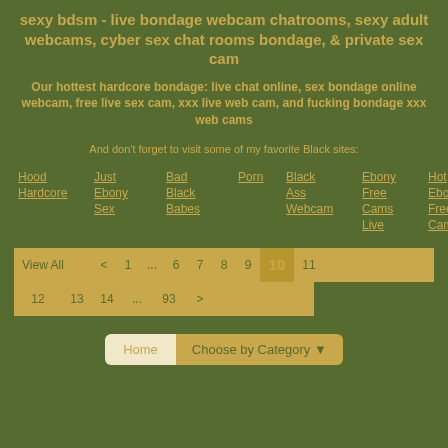sexy bdsm - live bondage webcam chatrooms, sexy adult webcams, cyber sex chat rooms bondage, & private sex cam
Our hottest hardcore bondage: live chat online, sex bondage online webcam, free live sex cam, xxx live web cam, and fucking bondage xxx web cams
And don't forget to visit some of my favorite Black sites:
Hood Hardcore
Just Ebony Sex
Bad Black Babes
Porn
Black Ass Webcam
Ebony Free Cams Live
Hot Ebony Free Cams
View All  <  1  ...  6  7  8  9  10  11
12  13  14  ...  93  >
Home  Choose by Category